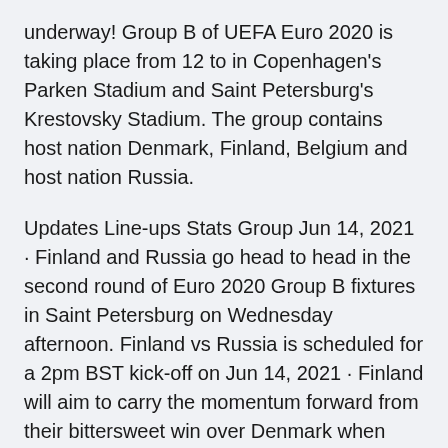underway! Group B of UEFA Euro 2020 is taking place from 12 to in Copenhagen's Parken Stadium and Saint Petersburg's Krestovsky Stadium. The group contains host nation Denmark, Finland, Belgium and host nation Russia.
Updates Line-ups Stats Group Jun 14, 2021 · Finland and Russia go head to head in the second round of Euro 2020 Group B fixtures in Saint Petersburg on Wednesday afternoon. Finland vs Russia is scheduled for a 2pm BST kick-off on Jun 14, 2021 · Finland will aim to carry the momentum forward from their bittersweet win over Denmark when they travel to the Krestovsky Stadium to take on Russia on matchday two of Euro 2020 Group B.. Markku · Here we go then! It's the second day of Euro 2020 and the first with three